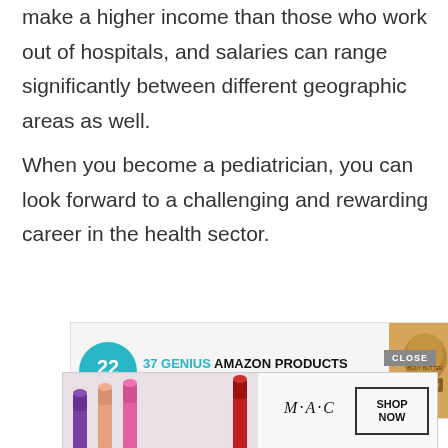make a higher income than those who work out of hospitals, and salaries can range significantly between different geographic areas as well.
When you become a pediatrician, you can look forward to a challenging and rewarding career in the health sector.
[Figure (screenshot): Advertisement banner: '22 WORDS - 37 GENIUS AMAZON PRODUCTS THAT CAN BE USED BY ANYONE' with teal circle logo and product image]
[Figure (screenshot): MAC cosmetics advertisement showing lipsticks with SHOP NOW button and close button]